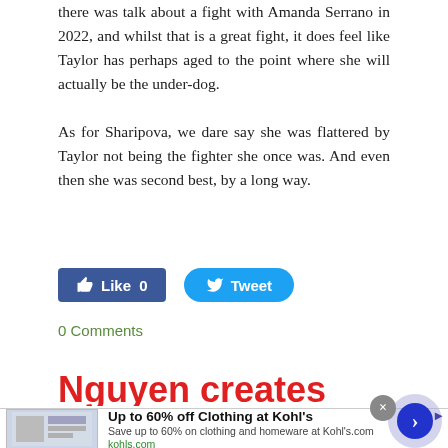there was talk about a fight with Amanda Serrano in 2022, and whilst that is a great fight, it does feel like Taylor has perhaps aged to the point where she will actually be the under-dog.
As for Sharipova, we dare say she was flattered by Taylor not being the fighter she once was. And even then she was second best, by a long way.
[Figure (other): Social sharing buttons: Facebook Like (0) button and Twitter Tweet button]
0 Comments
Nguyen creates history!
[Figure (other): Infolinks banner overlay with partial headline text 'thrones Tada' and an advertisement for Up to 60% off Clothing at Kohl's with close button and arrow navigation]